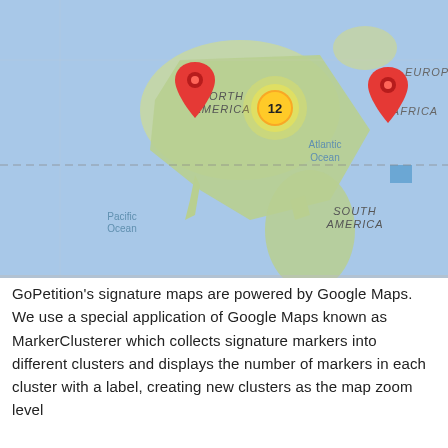[Figure (map): A Google Maps world map showing two red location pin markers — one over North America and one over Europe — plus a yellow cluster marker labeled '12' near eastern North America. Map labels include 'NORTH AMERICA', 'EUROPE', 'AFRICA', 'SOUTH AMERICA', 'Atlantic Ocean', 'Pacific Ocean'. A dashed horizontal line crosses the map.]
GoPetition's signature maps are powered by Google Maps. We use a special application of Google Maps known as MarkerClusterer which collects signature markers into different clusters and displays the number of markers in each cluster with a label, creating new clusters as the map zoom level